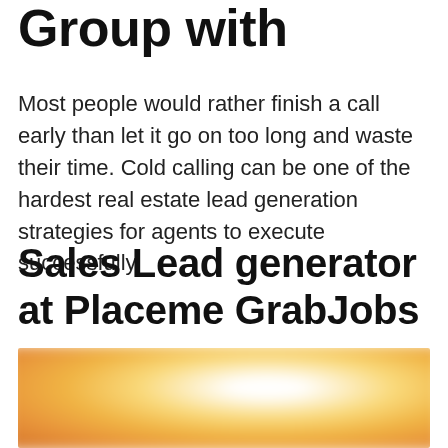Group with
Most people would rather finish a call early than let it go on too long and waste their time. Cold calling can be one of the hardest real estate lead generation strategies for agents to execute successfully.
Sales Lead generator at Placeme GrabJobs
[Figure (photo): Blurred warm golden/orange bokeh background image, partially visible, cropped at bottom of page]